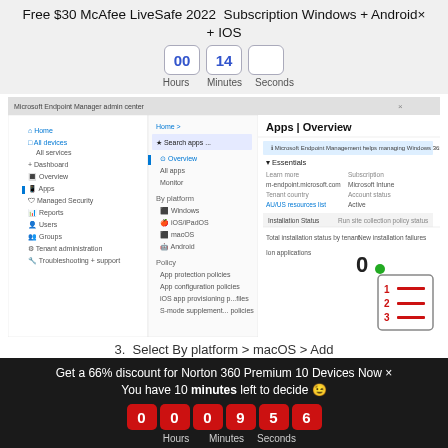Free $30 McAfee LiveSafe 2022 Subscription Windows + Android× + IOS
00  14     Hours  Minutes  Seconds
[Figure (screenshot): Microsoft Endpoint Manager Apps Overview screenshot showing a navigation panel on the left with Home, All devices, All services, Overview, Apps, Managed Security, Reports, Users, Groups, Tenant administration, Troubleshooting + support. Main content shows Apps | Overview with Installation Status, Run site collection policy status, Total installation status by tenant, App applications showing 0.]
3. Select By platform > macOS > Add
Get a 66% discount for Norton 360 Premium 10 Devices Now × You have 10 minutes left to decide 😉
0 0  0 9  5 6   Hours  Minutes  Seconds